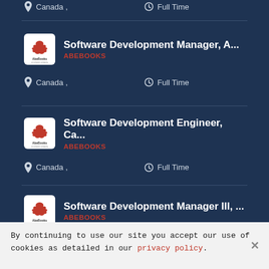Canada, | Full Time
Software Development Manager, A... | ABEBOOKS | Canada, | Full Time
Software Development Engineer, Ca... | ABEBOOKS | Canada, | Full Time
Software Development Manager III, ... | ABEBOOKS | Canada, | Full Time
By continuing to use our site you accept our use of cookies as detailed in our privacy policy.